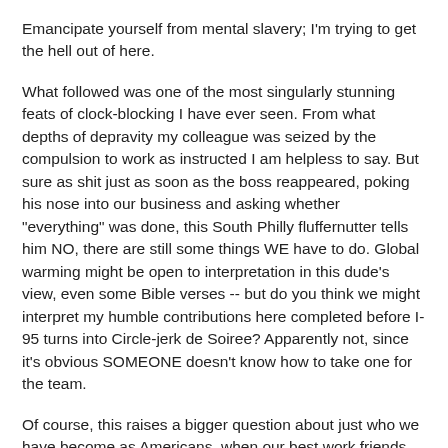Emancipate yourself from mental slavery; I'm trying to get the hell out of here.
What followed was one of the most singularly stunning feats of clock-blocking I have ever seen. From what depths of depravity my colleague was seized by the compulsion to work as instructed I am helpless to say. But sure as shit just as soon as the boss reappeared, poking his nose into our business and asking whether "everything" was done, this South Philly fluffernutter tells him NO, there are still some things WE have to do. Global warming might be open to interpretation in this dude's view, even some Bible verses -- but do you think we might interpret my humble contributions here completed before I-95 turns into Circle-jerk de Soiree? Apparently not, since it's obvious SOMEONE doesn't know how to take one for the team.
Of course, this raises a bigger question about just who we have become as Americans, when our best work friends reveal themselves to be inveterate clock-blockers anytime they find themselves handling a live grenade. I mean, whatever happened to the ethic of our ancestors, who knew